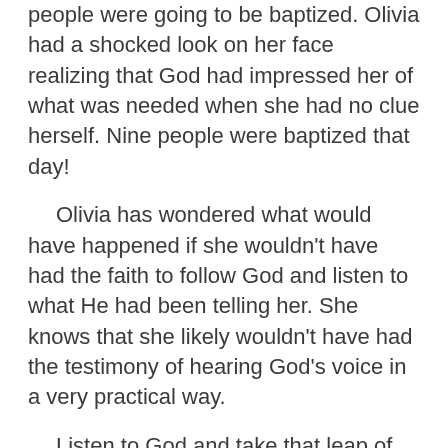people were going to be baptized. Olivia had a shocked look on her face realizing that God had impressed her of what was needed when she had no clue herself. Nine people were baptized that day!
Olivia has wondered what would have happened if she wouldn't have had the faith to follow God and listen to what He had been telling her. She knows that she likely wouldn't have had the testimony of hearing God's voice in a very practical way.
Listen to God and take that leap of faith. Even when it seems crazy-trust Him.